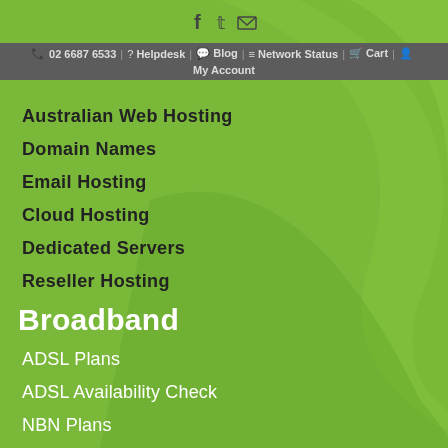f  t  (mail)  02 6687 6533  ? Helpdesk  Blog  Network Status  Cart  My Account
Australian Web Hosting
Domain Names
Email Hosting
Cloud Hosting
Dedicated Servers
Reseller Hosting
Broadband
ADSL Plans
ADSL Availability Check
NBN Plans
NBN Rollout Map